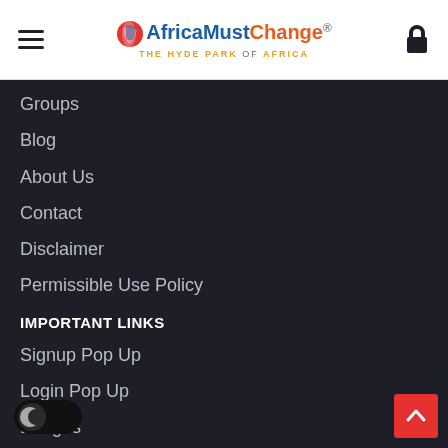[Figure (logo): AfricaMustChange logo with Africa globe icon, blue and orange text, tagline 'THE HYDE PARK OF AFRICA']
Groups
Blog
About Us
Contact
Disclaimer
Permissible Use Policy
IMPORTANT LINKS
Signup Pop Up
Login Pop Up
Badges
FAQs
Polls
Favorites
CUSTOM LINKS